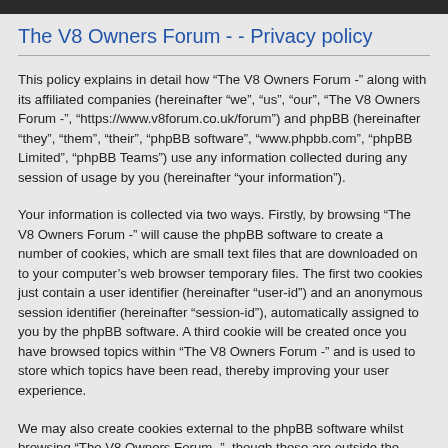The V8 Owners Forum - - Privacy policy
This policy explains in detail how “The V8 Owners Forum -” along with its affiliated companies (hereinafter “we”, “us”, “our”, “The V8 Owners Forum -”, “https://www.v8forum.co.uk/forum”) and phpBB (hereinafter “they”, “them”, “their”, “phpBB software”, “www.phpbb.com”, “phpBB Limited”, “phpBB Teams”) use any information collected during any session of usage by you (hereinafter “your information”).
Your information is collected via two ways. Firstly, by browsing “The V8 Owners Forum -” will cause the phpBB software to create a number of cookies, which are small text files that are downloaded on to your computer’s web browser temporary files. The first two cookies just contain a user identifier (hereinafter “user-id”) and an anonymous session identifier (hereinafter “session-id”), automatically assigned to you by the phpBB software. A third cookie will be created once you have browsed topics within “The V8 Owners Forum -” and is used to store which topics have been read, thereby improving your user experience.
We may also create cookies external to the phpBB software whilst browsing “The V8 Owners Forum -”, though these are outside the scope of this document which is intended to only cover the pages created by the phpBB software. The second way in which we collect your information is by what you submit to us. This can be, and is not limited to: posting as an anonymous user (hereinafter “anonymous posts”), registering on “The V8 Owners Forum -” (hereinafter “your